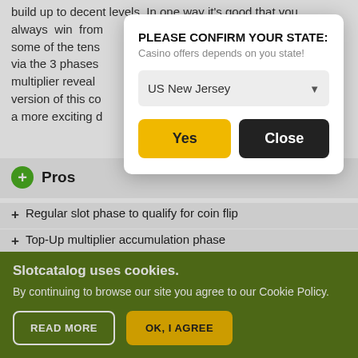build up to decent levels. In one way it's good that you always win from some of the tens via the 3 phases multiplier reveal version of this co a more exciting d
[Figure (screenshot): Modal dialog box with title 'PLEASE CONFIRM YOUR STATE:', subtitle 'Casino offers depends on you state!', a dropdown showing 'US New Jersey', and two buttons: 'Yes' (yellow) and 'Close' (dark).]
Pros
Regular slot phase to qualify for coin flip
Top-Up multiplier accumulation phase
Coin Flip determines multiplier win (red or blue)
Slotcatalog uses cookies. By continuing to browse our site you agree to our Cookie Policy.